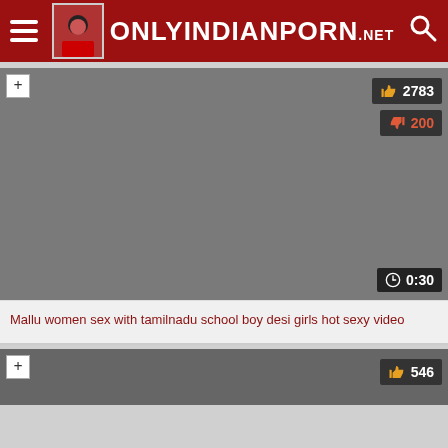ONLYINDIANPORN.net
[Figure (screenshot): Video thumbnail area - gray placeholder for video]
Mallu women sex with tamilnadu school boy desi girls hot sexy video
[Figure (screenshot): Second video thumbnail - partial view at bottom]